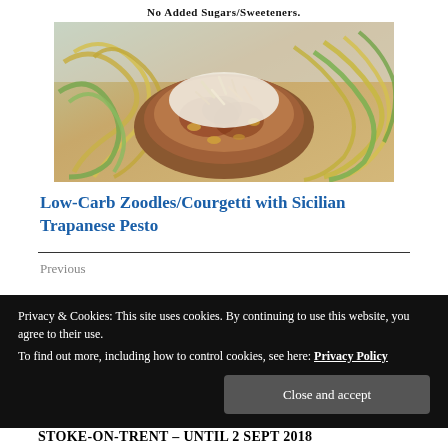No Added Sugars/Sweeteners.
[Figure (photo): A plate of zoodles/courgetti noodles topped with Sicilian Trapanese pesto, garnished with shredded parmesan cheese, with green and yellow spiral vegetable noodles visible.]
Low-Carb Zoodles/Courgetti with Sicilian Trapanese Pesto
Previous
Privacy & Cookies: This site uses cookies. By continuing to use this website, you agree to their use.
To find out more, including how to control cookies, see here: Privacy Policy
Close and accept
STOKE-ON-TRENT – UNTIL 2 SEPT 2018